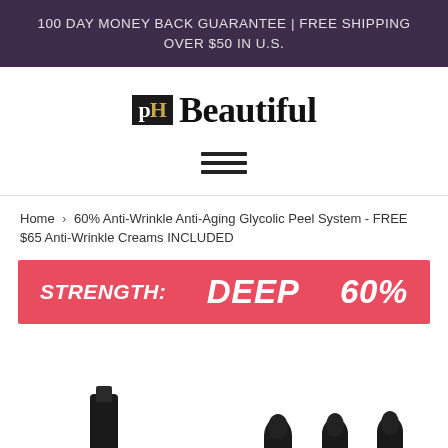100 DAY MONEY BACK GUARANTEE | FREE SHIPPING OVER $50 IN U.S.
[Figure (logo): pH Beautiful logo — 'pH' in a black box with gold 'H', followed by 'Beautiful' in bold serif font]
[Figure (other): Hamburger menu icon — three horizontal black bars]
Home › 60% Anti-Wrinkle Anti-Aging Glycolic Peel System - FREE $65 Anti-Wrinkle Creams INCLUDED
STRENGTH:   DEEP   60%
[Figure (photo): Product bottles with black dropper caps, partially visible at the bottom of the page]